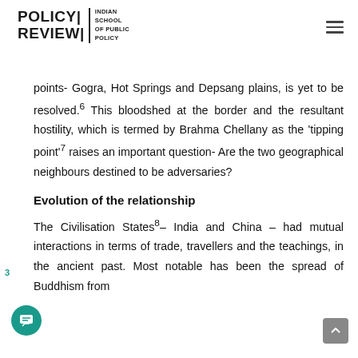POLICY REVIEW | INDIAN SCHOOL OF PUBLIC POLICY
points- Gogra, Hot Springs and Depsang plains, is yet to be resolved.6 This bloodshed at the border and the resultant hostility, which is termed by Brahma Chellany as the 'tipping point'7 raises an important question- Are the two geographical neighbours destined to be adversaries?
Evolution of the relationship
The Civilisation States8– India and China – had mutual interactions in terms of trade, travellers and the teachings, in the ancient past. Most notable has been the spread of Buddhism from